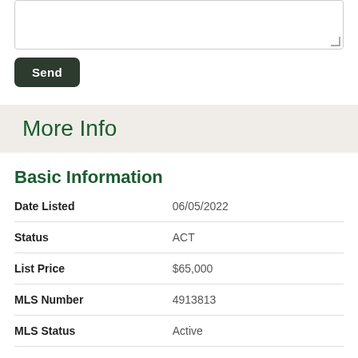[Figure (other): Text area input box (form element)]
Send
More Info
Basic Information
| Field | Value |
| --- | --- |
| Date Listed | 06/05/2022 |
| Status | ACT |
| List Price | $65,000 |
| MLS Number | 4913813 |
| MLS Status | Active |